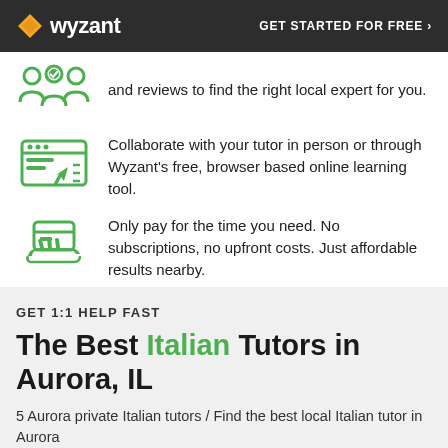wyzant | GET STARTED FOR FREE ›
and reviews to find the right local expert for you.
Collaborate with your tutor in person or through Wyzant's free, browser based online learning tool.
Only pay for the time you need. No subscriptions, no upfront costs. Just affordable results nearby.
GET 1:1 HELP FAST
The Best Italian Tutors in Aurora, IL
5 Aurora private Italian tutors / Find the best local Italian tutor in Aurora